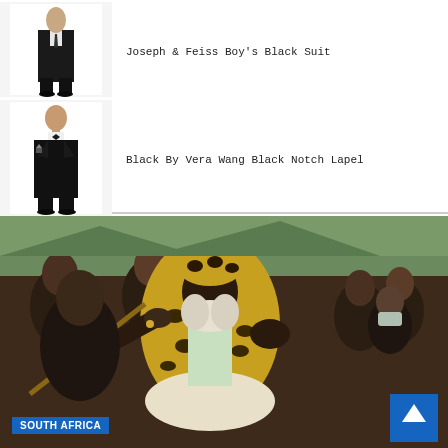[Figure (photo): Man in black boy's suit standing against white background - Joseph & Feiss Boy's Black Suit product image]
Joseph & Feiss Boy's Black Suit
[Figure (photo): Man in black tuxedo with notch lapel and bow tie standing against white background - Black By Vera Wang Black Notch Lapel product image]
Black By Vera Wang Black Notch Lapel
[Figure (photo): Group of men in traditional African attire including leopard print garments; one prominent figure in center wearing leopard skin and holding a stick; person wearing surgical mask on right; SOUTH AFRICA label overlay at bottom left]